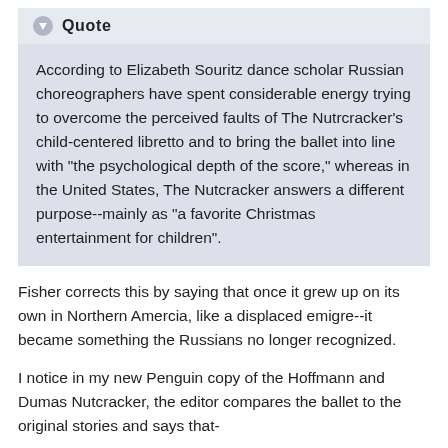Quote (header)
According to Elizabeth Souritz dance scholar Russian choreographers have spent considerable energy trying to overcome the perceived faults of The Nutrcracker's child-centered libretto and to bring the ballet into line with "the psychological depth of the score," whereas in the United States, The Nutcracker answers a different purpose--mainly as "a favorite Christmas entertainment for children".
Fisher corrects this by saying that once it grew up on its own in Northern Amercia, like a displaced emigre--it became something the Russians no longer recognized.
I notice in my new Penguin copy of the Hoffmann and Dumas Nutcracker, the editor compares the ballet to the original stories and says that-
Quote (header 2)
gone [in the ballet] are the more serious issues of